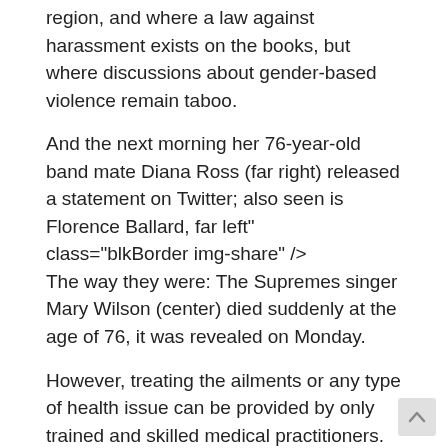region, and where a law against harassment exists on the books, but where discussions about gender-based violence remain taboo.
And the next morning her 76-year-old band mate Diana Ross (far right) released a statement on Twitter; also seen is Florence Ballard, far left" class="blkBorder img-share" />
The way they were: The Supremes singer Mary Wilson (center) died suddenly at the age of 76, it was revealed on Monday.
However, treating the ailments or any type of health issue can be provided by only trained and skilled medical practitioners. Human beings are prone to several types of ailments and health issues.
This is very natural.